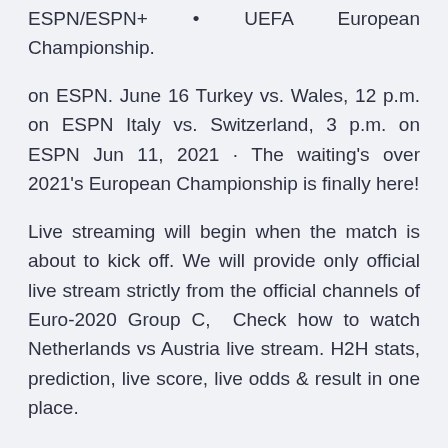ESPN/ESPN+ • UEFA European Championship.
on ESPN. June 16 Turkey vs. Wales, 12 p.m. on ESPN Italy vs. Switzerland, 3 p.m. on ESPN Jun 11, 2021 · The waiting's over 2021's European Championship is finally here!
Live streaming will begin when the match is about to kick off. We will provide only official live stream strictly from the official channels of Euro-2020 Group C,  Check how to watch Netherlands vs Austria live stream. H2H stats, prediction, live score, live odds & result in one place.
Belgium in Copenhagen (12 p.m. ET, ESPN) Netherlands vs. Austria in Amsterdam (3 p.m. ET, ESPN) Friday, June 18. Sweden vs. Slovakia in Saint Petersburg (9 a.m. ET, ESPN) Countries Austria